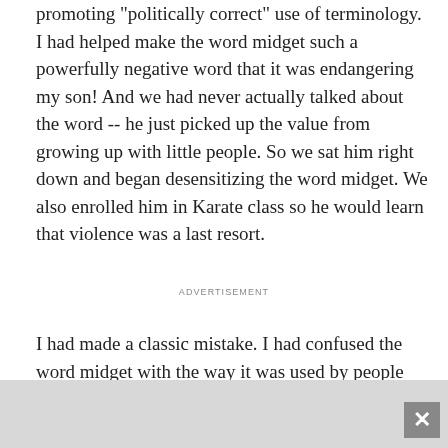promoting "politically correct" use of terminology. I had helped make the word midget such a powerfully negative word that it was endangering my son! And we had never actually talked about the word -- he just picked up the value from growing up with little people. So we sat him right down and began desensitizing the word midget. We also enrolled him in Karate class so he would learn that violence was a last resort.
ADVERTISEMENT
I had made a classic mistake. I had confused the word midget with the way it was used by people who intended to make me
[Figure (other): Advertisement banner at bottom of page with close (X) button]